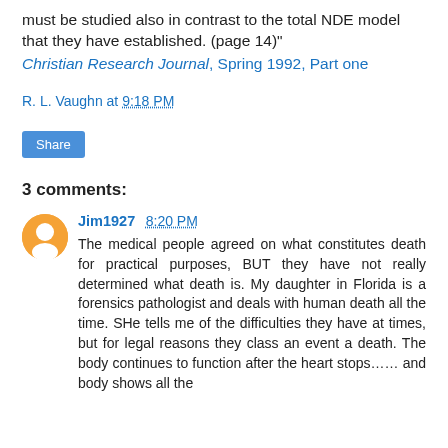must be studied also in contrast to the total NDE model that they have established. (page 14)"
Christian Research Journal, Spring 1992, Part one
R. L. Vaughn at 9:18 PM
Share
3 comments:
Jim1927 8:20 PM
The medical people agreed on what constitutes death for practical purposes, BUT they have not really determined what death is. My daughter in Florida is a forensics pathologist and deals with human death all the time. SHe tells me of the difficulties they have at times, but for legal reasons they class an event a death. The body continues to function after the heart stops…… and body shows all the